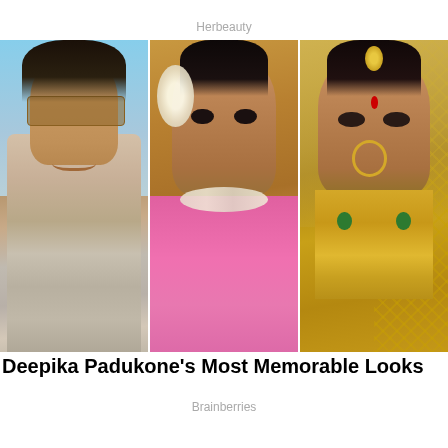Herbeauty
[Figure (photo): Three photos of Deepika Padukone side by side: left - casual look with sunglasses and grey top, center - traditional look with white flowers in hair, diamond necklace, and pink saree, right - bridal look with gold jewelry and traditional veil]
Deepika Padukone’s Most Memorable Looks
Brainberries